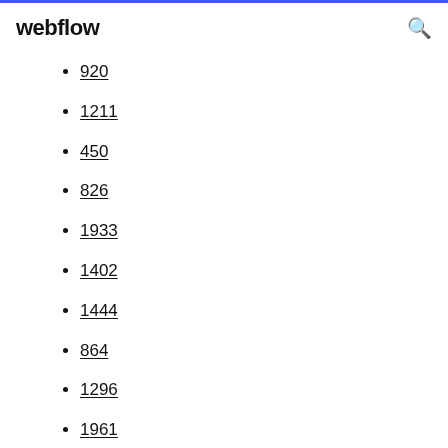webflow
920
1211
450
826
1933
1402
1444
864
1296
1961
381
617
1925